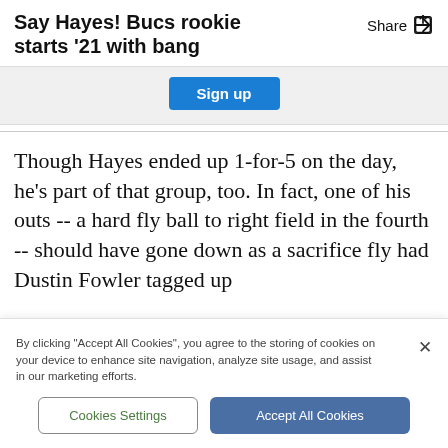Say Hayes! Bucs rookie starts '21 with bang
[Figure (other): Sign up button in gray banner]
Though Hayes ended up 1-for-5 on the day, he's part of that group, too. In fact, one of his outs -- a hard fly ball to right field in the fourth -- should have gone down as a sacrifice fly had Dustin Fowler tagged up
By clicking "Accept All Cookies", you agree to the storing of cookies on your device to enhance site navigation, analyze site usage, and assist in our marketing efforts.